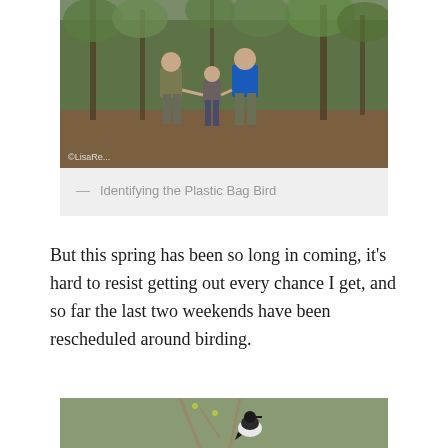[Figure (photo): Photo of adults and a child walking through a wooded area, viewed from behind. One adult wears a blue jacket, another wears olive/tan. A child walks between them. Green leafy trees in background. Copyright watermark: © LisaRe... in bottom left.]
— Identifying the Plastic Bag Bird
But this spring has been so long in coming, it's hard to resist getting out every chance I get, and so far the last two weekends have been rescheduled around birding.
[Figure (photo): Photo of a small bird (Eastern Kingbird or similar dark-and-white bird) perched on a bare branch with small green buds. Blurred green/brown background suggesting spring foliage.]